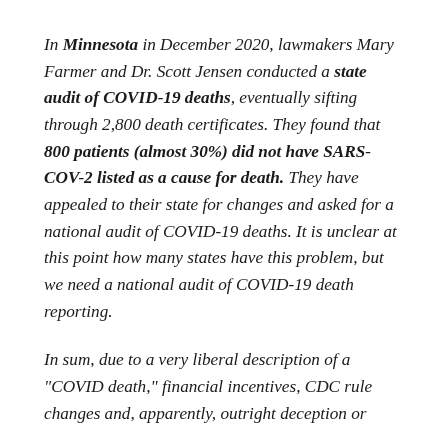In Minnesota in December 2020, lawmakers Mary Farmer and Dr. Scott Jensen conducted a state audit of COVID-19 deaths, eventually sifting through 2,800 death certificates. They found that 800 patients (almost 30%) did not have SARS-COV-2 listed as a cause for death. They have appealed to their state for changes and asked for a national audit of COVID-19 deaths. It is unclear at this point how many states have this problem, but we need a national audit of COVID-19 death reporting.
In sum, due to a very liberal description of a “COVID death,” financial incentives, CDC rule changes and, apparently, outright deception or